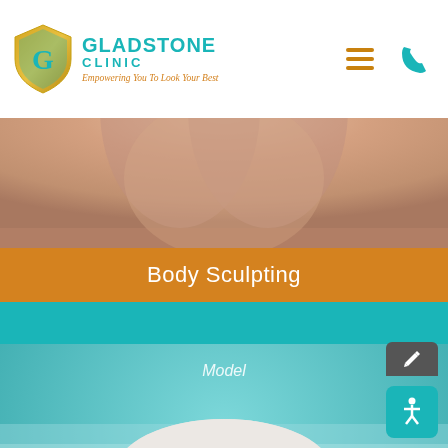[Figure (logo): Gladstone Clinic logo with shield icon and tagline 'Empowering You To Look Your Best']
[Figure (photo): Body sculpting photo showing upper torso area]
Body Sculpting
[Figure (photo): Skin care photo showing a woman wearing a large white sun hat, smiling, with 'Model' text overlay on a teal background]
Skin Care